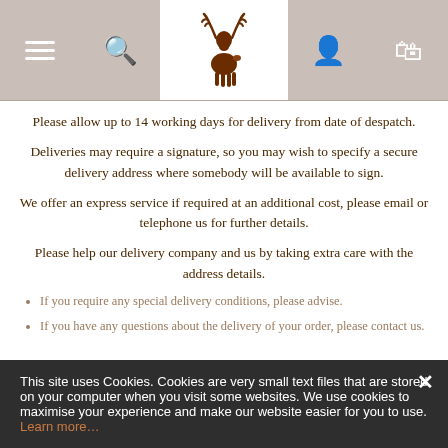Navigation header with hamburger menu, search, deer logo, user icon, and bag icon
Please allow up to 14 working days for delivery from date of despatch.
Deliveries may require a signature, so you may wish to specify a secure delivery address where somebody will be available to sign.
We offer an express service if required at an additional cost, please email or telephone us for further details.
Please help our delivery company and us by taking extra care with the address details.
If you require any special delivery conditions, please advise.
If you have any questions about the delivery of your order, please contact us.
This site uses Cookies. Cookies are very small text files that are stored on your computer when you visit some websites. We use cookies to maximise your experience and make our website easier for you to use. Learn more…